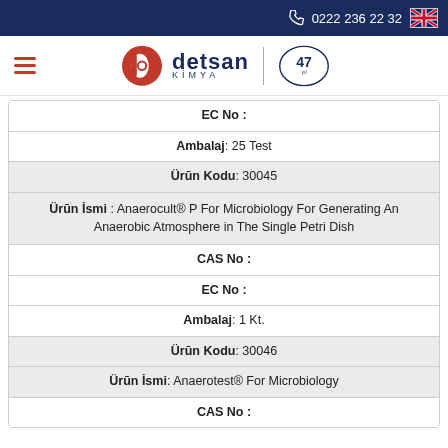0222 236 22 32
[Figure (logo): Detsan Kimya logo with 47. yıl badge]
| EC No : |
| Ambalaj : 25 Test |
| Ürün Kodu : 30045 |
| Ürün İsmi : Anaerocult® P For Microbiology For Generating An Anaerobic Atmosphere in The Single Petri Dish |
| CAS No : |
| EC No : |
| Ambalaj : 1 Kt. |
| Ürün Kodu : 30046 |
| Ürün İsmi : Anaerotest® For Microbiology |
| CAS No : |